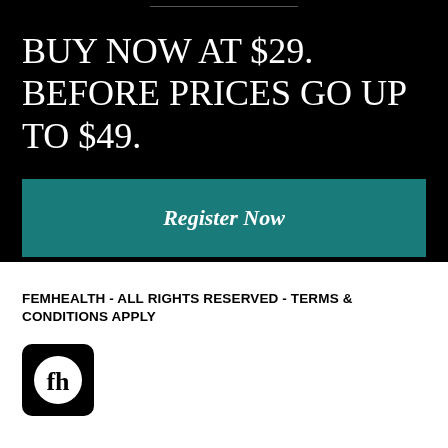BUY NOW AT $29. BEFORE PRICES GO UP TO $49.
Register Now
FEMHEALTH - ALL RIGHTS RESERVED - TERMS & CONDITIONS APPLY
[Figure (logo): FemHealth logo: black rounded square with 'fh' letters in white serif font inside a white circle]